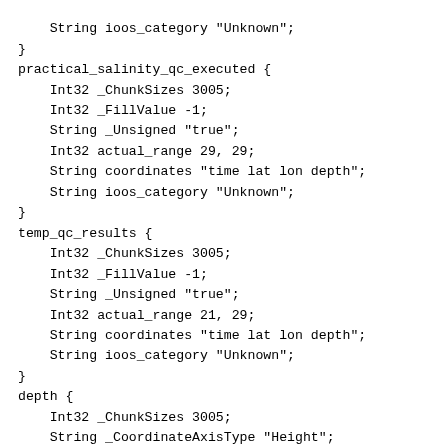String ioos_category "Unknown";
}
practical_salinity_qc_executed {
    Int32 _ChunkSizes 3005;
    Int32 _FillValue -1;
    String _Unsigned "true";
    Int32 actual_range 29, 29;
    String coordinates "time lat lon depth";
    String ioos_category "Unknown";
}
temp_qc_results {
    Int32 _ChunkSizes 3005;
    Int32 _FillValue -1;
    String _Unsigned "true";
    Int32 actual_range 21, 29;
    String coordinates "time lat lon depth";
    String ioos_category "Unknown";
}
depth {
    Int32 _ChunkSizes 3005;
    String _CoordinateAxisType "Height";
    String _CoordinateZisPositive "down";
    Float32 _FillValue -9999999.0;
    Float32 actual_range 6.604066, 7.653476;
    String ancillary_variables "pressure";
    String axis "Z";